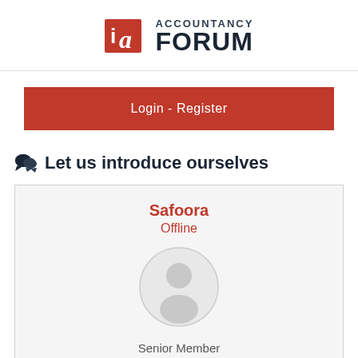Accountancy Forum
Login - Register
Let us introduce ourselves
Safoora
Offline
Senior Member